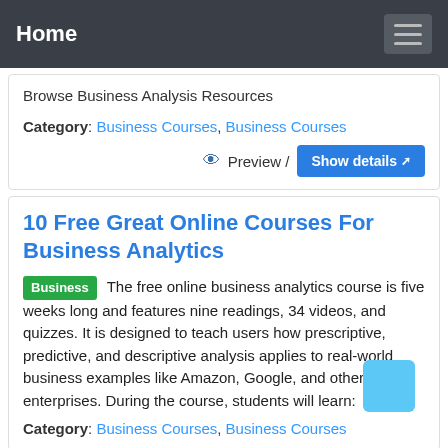Home
Browse Business Analysis Resources
Category: Business Courses, Business Courses
Preview / Show details
10 Free Great Online Courses For Business Analytics
Business The free online business analytics course is five weeks long and features nine readings, 34 videos, and quizzes. It is designed to teach users how prescriptive, predictive, and descriptive analysis applies to real-world business examples like Amazon, Google, and other large enterprises. During the course, students will learn:
Category: Business Courses, Business Courses